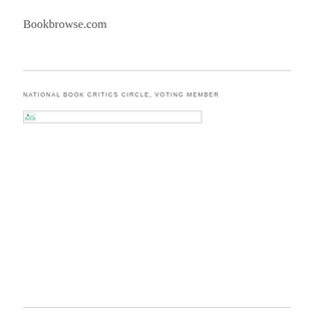Bookbrowse.com
NATIONAL BOOK CRITICS CIRCLE, VOTING MEMBER
[Figure (other): Broken image placeholder with small icon, rectangular border]